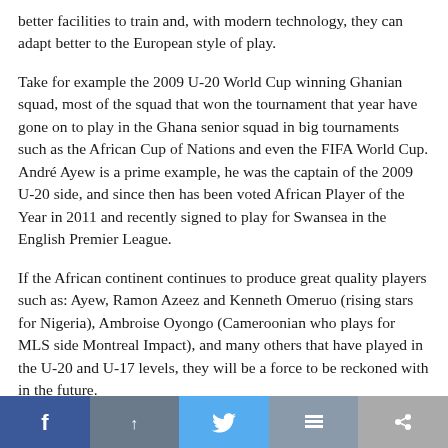better facilities to train and, with modern technology, they can adapt better to the European style of play.
Take for example the 2009 U-20 World Cup winning Ghanian squad, most of the squad that won the tournament that year have gone on to play in the Ghana senior squad in big tournaments such as the African Cup of Nations and even the FIFA World Cup. André Ayew is a prime example, he was the captain of the 2009 U-20 side, and since then has been voted African Player of the Year in 2011 and recently signed to play for Swansea in the English Premier League.
If the African continent continues to produce great quality players such as: Ayew, Ramon Azeez and Kenneth Omeruo (rising stars for Nigeria), Ambroise Oyongo (Cameroonian who plays for MLS side Montreal Impact), and many others that have played in the U-20 and U-17 levels, they will be a force to be reckoned with in the future.
Now, with Senegal and Mali playing for third place some
[Figure (other): Social media sharing buttons bar at bottom of page: Facebook, share, Twitter, and two gray buttons]